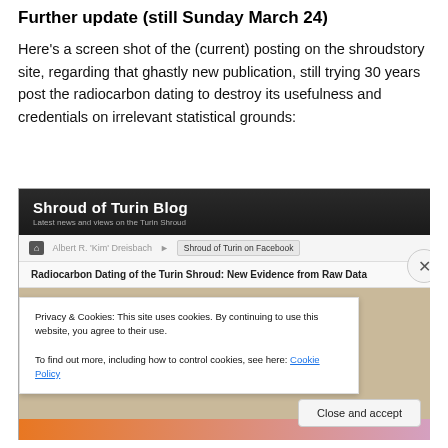Further update (still Sunday March 24)
Here's a screen shot of the (current) posting on the shroudstory site, regarding that ghastly new publication, still trying 30 years post the radiocarbon dating to destroy its usefulness and credentials on irrelevant statistical grounds:
[Figure (screenshot): Screenshot of the Shroud of Turin Blog website showing the blog header, navigation bar with 'Albert R. Kim Dreisbach' and 'Shroud of Turin on Facebook' links, article title 'Radiocarbon Dating of the Turin Shroud: New Evidence from Raw Data', and a privacy/cookie consent overlay with a 'Close and accept' button.]